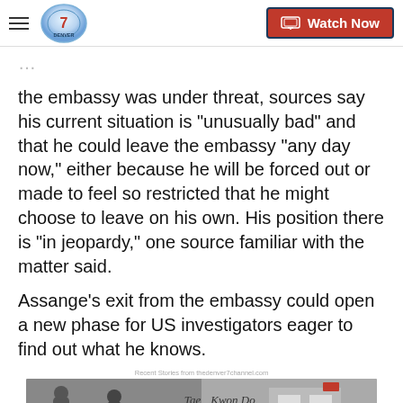Denver 7 - Watch Now
the embassy was under threat, sources say his current situation is "unusually bad" and that he could leave the embassy "any day now," either because he will be forced out or made to feel so restricted that he might choose to leave on his own. His position there is "in jeopardy," one source familiar with the matter said.
Assange's exit from the embassy could open a new phase for US investigators eager to find out what he knows.
Recent Stories from thedenver7channel.com
[Figure (screenshot): Video thumbnail showing two people, with 'Tae Kwon Do' text visible, labeled 'Top Videos']